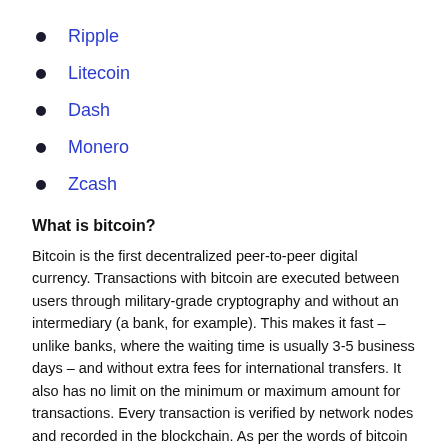Ripple
Litecoin
Dash
Monero
Zcash
What is bitcoin?
Bitcoin is the first decentralized peer-to-peer digital currency. Transactions with bitcoin are executed between users through military-grade cryptography and without an intermediary (a bank, for example). This makes it fast – unlike banks, where the waiting time is usually 3-5 business days – and without extra fees for international transfers. It also has no limit on the minimum or maximum amount for transactions. Every transaction is verified by network nodes and recorded in the blockchain. As per the words of bitcoin